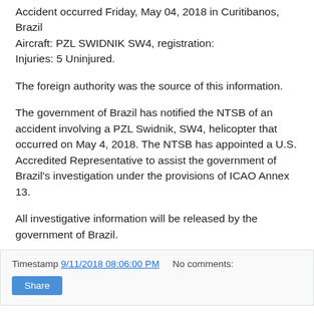Accident occurred Friday, May 04, 2018 in Curitibanos, Brazil
Aircraft: PZL SWIDNIK SW4, registration:
Injuries: 5 Uninjured.
The foreign authority was the source of this information.
The government of Brazil has notified the NTSB of an accident involving a PZL Swidnik, SW4, helicopter that occurred on May 4, 2018. The NTSB has appointed a U.S. Accredited Representative to assist the government of Brazil's investigation under the provisions of ICAO Annex 13.
All investigative information will be released by the government of Brazil.
Timestamp 9/11/2018 08:06:00 PM   No comments:
Share
Bell 206 Jet Ranger III, Pilot Air, F-